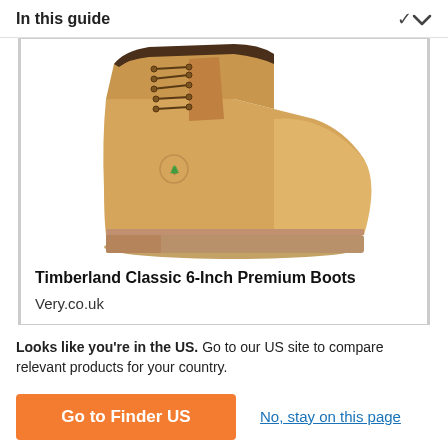In this guide
[Figure (photo): Timberland Classic 6-Inch Premium Boot in wheat/tan nubuck leather, showing the side profile with laces, Timberland tree logo, and chunky rubber sole]
Timberland Classic 6-Inch Premium Boots
Very.co.uk
Looks like you're in the US. Go to our US site to compare relevant products for your country.
Go to Finder US
No, stay on this page